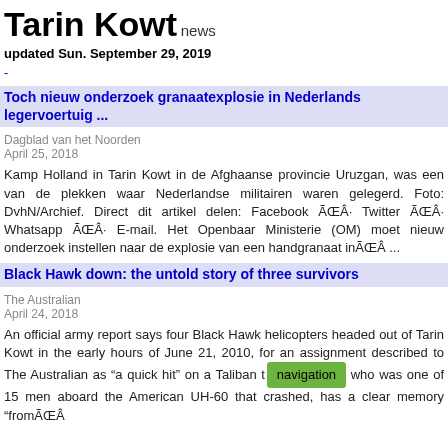Tarin Kowt
news
updated Sun. September 29, 2019
-
Toch nieuw onderzoek granaatexplosie in Nederlands legervoertuig ...
Dagblad van het Noorden
April 25, 2018
Kamp Holland in Tarin Kowt in de Afghaanse provincie Uruzgan, was een van de plekken waar Nederlandse militairen waren gelegerd. Foto: DvhN/Archief. Direct dit artikel delen: Facebook ÃŒÂ· Twitter ÃŒÂ· Whatsapp ÃŒÂ· E-mail. Het Openbaar Ministerie (OM) moet nieuw onderzoek instellen naar de explosie van een handgranaat inÃŒÂ ...
Black Hawk down: the untold story of three survivors
The Australian
April 24, 2018
An official army report says four Black Hawk helicopters headed out of Tarin Kowt in the early hours of June 21, 2010, for an assignment described to The Australian as “a quick hit” on a Taliban t[navigation] who was one of 15 men aboard the American UH-60 that crashed, has a clear memory “fromÃŒÂ